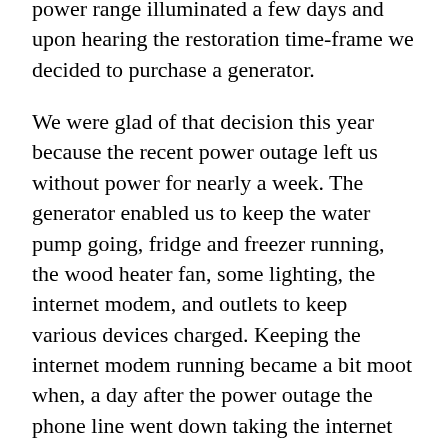power range illuminated a few days and upon hearing the restoration prediction time-frame we decided to purchase a generator.
We were glad of that decision this year because the recent power outage left us without power for nearly a week. The generator enabled us to keep the water pump going, fridge and freezer running, the wood heater fan, some lighting, the internet modem, and outlets to keep various devices charged. Keeping the internet modem running became a bit moot when, a day after the power outage the phone line went down taking the internet connection (ADSL) with it.
For almost a week, the daily routine consisted of filling the generator with fuel and starting it first thing (and didn't hurt to run it again in